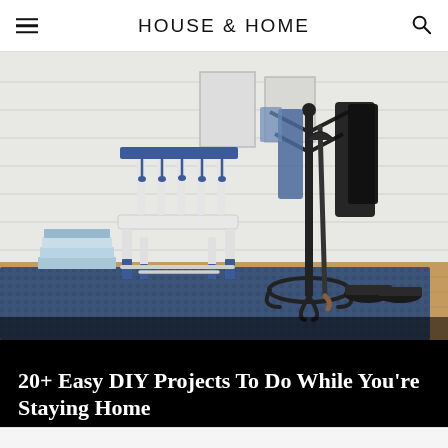HOUSE & HOME
[Figure (photo): Entryway scene featuring a white wooden chair with blue-dipped legs and blue tassel accents, a stack of magazines on the left, a dark metal coat/umbrella stand with hanging clothing and an umbrella, a blue distressed area rug, and a pair of dark sneakers on a wooden floor against a white shiplap wall.]
20+ Easy DIY Projects To Do While You're Staying Home